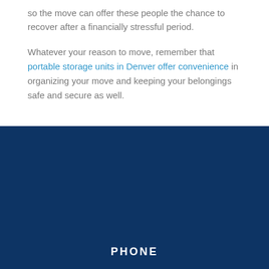so the move can offer these people the chance to recover after a financially stressful period.
Whatever your reason to move, remember that portable storage units in Denver offer convenience in organizing your move and keeping your belongings safe and secure as well.
PHONE